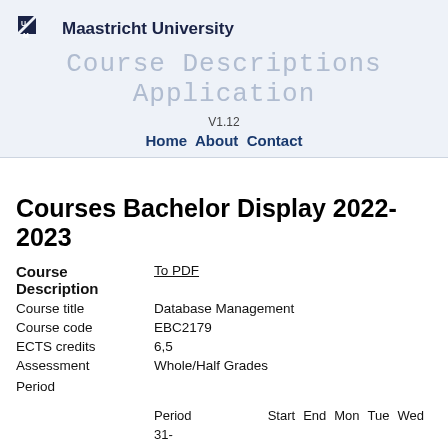Maastricht University
Course Descriptions Application
V1.12
Home  About  Contact
Courses Bachelor Display 2022-2023
|  |  |
| --- | --- |
| Course Description | To PDF |
| Course title | Database Management |
| Course code | EBC2179 |
| ECTS credits | 6,5 |
| Assessment | Whole/Half Grades |
| Period |  |
|  | Period  Start  End  Mon  Tue  Wed |
|  | 31- |